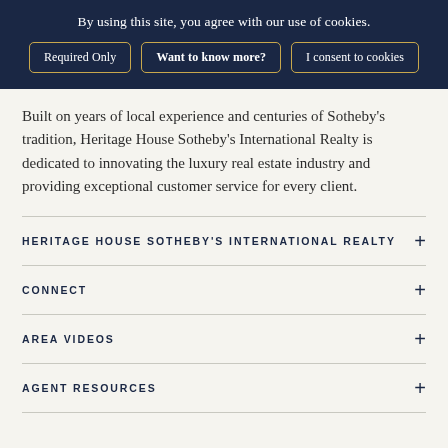By using this site, you agree with our use of cookies.
Required Only | Want to know more? | I consent to cookies
Built on years of local experience and centuries of Sotheby's tradition, Heritage House Sotheby's International Realty is dedicated to innovating the luxury real estate industry and providing exceptional customer service for every client.
HERITAGE HOUSE SOTHEBY'S INTERNATIONAL REALTY
CONNECT
AREA VIDEOS
AGENT RESOURCES